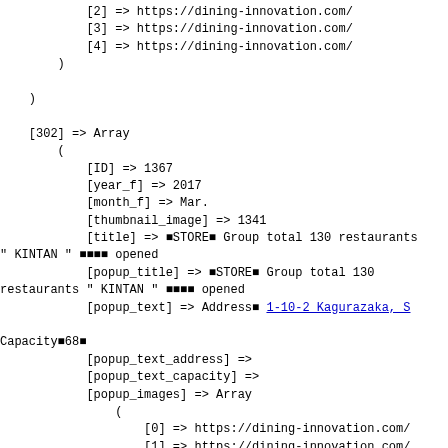[2] => https://dining-innovation.com/
            [3] => https://dining-innovation.com/
            [4] => https://dining-innovation.com/
        )

    )

    [302] => Array
        (
            [ID] => 1367
            [year_f] => 2017
            [month_f] => Mar.
            [thumbnail_image] => 1341
            [title] => STORE Group total 130 restaurants" KINTAN " opened
            [popup_title] => STORE Group total 130 restaurants " KINTAN " opened
            [popup_text] => Address 1-10-2 Kagurazaka, S
Capacity 68
            [popup_text_address] =>
            [popup_text_capacity] =>
            [popup_images] => Array
                (
                    [0] => https://dining-innovation.com/
                    [1] => https://dining-innovation.com/
                    [2] => https://dining-innovation.com/
                    [3] => https://dining-innovation.com/
                )